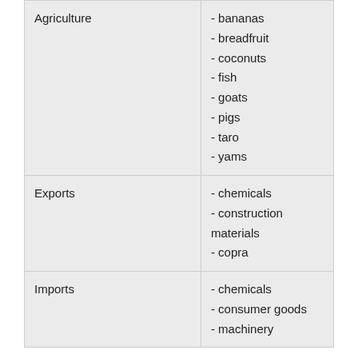| Category | Items |
| --- | --- |
| Agriculture | - bananas
- breadfruit
- coconuts
- fish
- goats
- pigs
- taro
- yams |
| Exports | - chemicals
- construction materials
- copra |
| Imports | - chemicals
- consumer goods
- machinery |
Communication